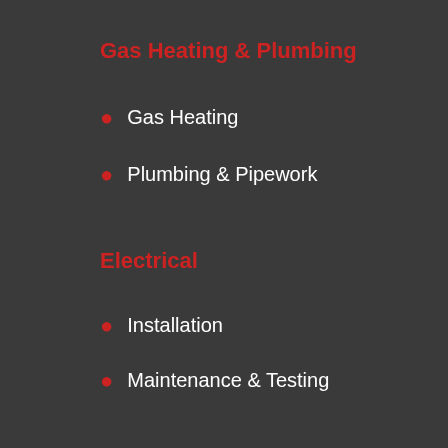Gas Heating & Plumbing
Gas Heating
Plumbing & Pipework
Electrical
Installation
Maintenance & Testing
Air Conditioning & Ventilation
Installation & Maintenance
Building & Construction
Building Maintenance